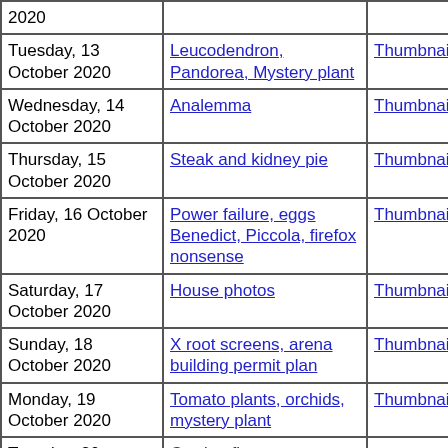| Date | Subject | Thumbnails | Small photos | dia |
| --- | --- | --- | --- | --- |
| 2020 (partial) |  |  |  |  |
| Tuesday, 13 October 2020 | Leucodendron, Pandorea, Mystery plant | Thumbnails | Small photos | dia |
| Wednesday, 14 October 2020 | Analemma | Thumbnails | Small photos | dia |
| Thursday, 15 October 2020 | Steak and kidney pie | Thumbnails | Small photos | dia |
| Friday, 16 October 2020 | Power failure, eggs Benedict, Piccola, firefox nonsense | Thumbnails | Small photos | dia |
| Saturday, 17 October 2020 | House photos | Thumbnails | Small photos | dia |
| Sunday, 18 October 2020 | X root screens, arena building permit plan | Thumbnails | Small photos | dia |
| Monday, 19 October 2020 | Tomato plants, orchids, mystery plant | Thumbnails | Small photos | dia |
| Tuesday, 20 (partial) | Garden flowers (partial) |  | Small |  |